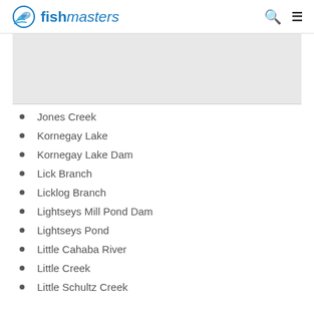fishmasters
[Figure (other): Gray placeholder/advertisement block]
Jones Creek
Kornegay Lake
Kornegay Lake Dam
Lick Branch
Licklog Branch
Lightseys Mill Pond Dam
Lightseys Pond
Little Cahaba River
Little Creek
Little Schultz Creek